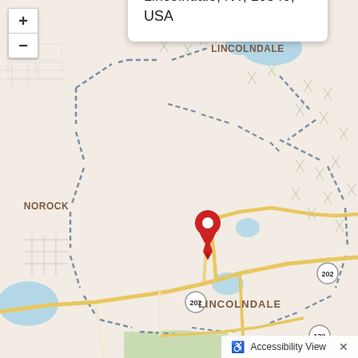[Figure (map): Street map of Lincolndale, NY area showing Lake Lincolndale to the north, Norock to the west, Route 202 running through the area, Route 139 to the south, and a red map pin marker indicating the location of 155 Route 202, Lincolndale, NY 10540, USA. An address popup is shown with the full address text. Zoom in/out controls are visible in the top-left corner.]